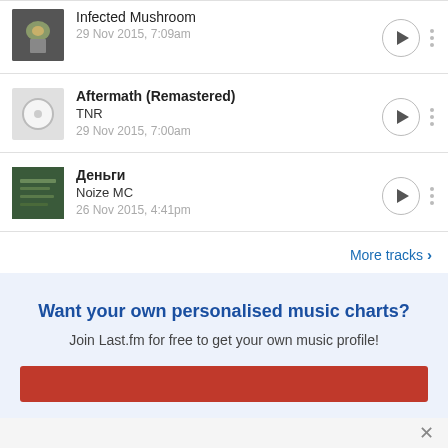Infected Mushroom
29 Nov 2015, 7:09am
Aftermath (Remastered)
TNR
29 Nov 2015, 7:00am
Деньги
Noize MC
26 Nov 2015, 4:41pm
More tracks >
Want your own personalised music charts?
Join Last.fm for free to get your own music profile!